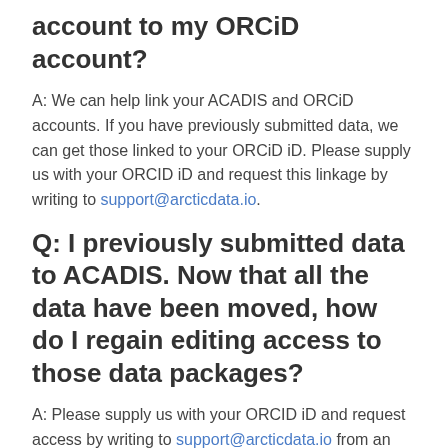account to my ORCiD account?
A: We can help link your ACADIS and ORCiD accounts. If you have previously submitted data, we can get those linked to your ORCiD iD. Please supply us with your ORCID iD and request this linkage by writing to support@arcticdata.io.
Q: I previously submitted data to ACADIS. Now that all the data have been moved, how do I regain editing access to those data packages?
A: Please supply us with your ORCID iD and request access by writing to support@arcticdata.io from an email address of the packages' submitter or creator. Also, be sure to provide the specific identifiers (DOIs) of the packages.